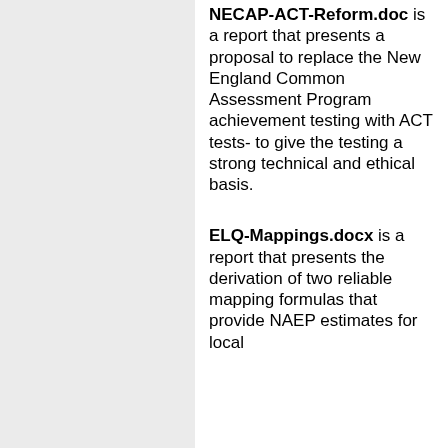NECAP-ACT-Reform.doc is a report that presents a proposal to replace the New England Common Assessment Program achievement testing with ACT tests- to give the testing a strong technical and ethical basis.
ELQ-Mappings.docx is a report that presents the derivation of two reliable mapping formulas that provide NAEP estimates for local